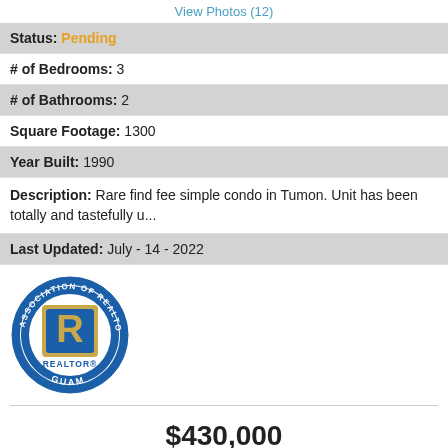View Photos (12)
Status: Pending
# of Bedrooms: 3
# of Bathrooms: 2
Square Footage: 1300
Year Built: 1990
Description: Rare find fee simple condo in Tumon. Unit has been totally and tastefully u...
Last Updated: July - 14 - 2022
[Figure (logo): Guam Association of Realtors circular logo with blue border and gold 'R' symbol]
$430,000
310 Ladera St 912, Ladera Tower